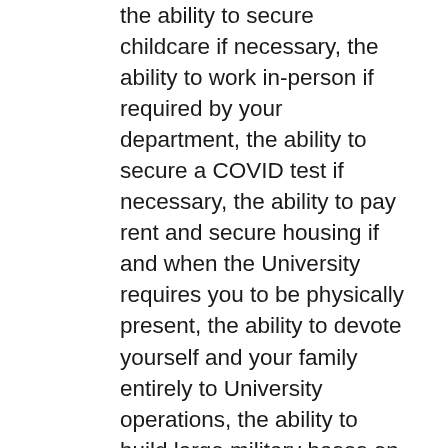the ability to secure childcare if necessary, the ability to work in-person if required by your department, the ability to secure a COVID test if necessary, the ability to pay rent and secure housing if and when the University requires you to be physically present, the ability to devote yourself and your family entirely to University operations, the ability to build large military bases on campus to defend the premises from land and air attacks, the ability to dig complex trench systems to transport men and arms across campus lines, the ability to serve your employers dutifully in the coming mole people war, the ability to use chemical warfare for this